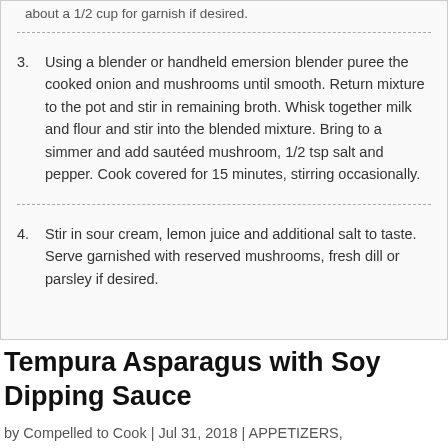about a 1/2 cup for garnish if desired.
3. Using a blender or handheld emersion blender puree the cooked onion and mushrooms until smooth. Return mixture to the pot and stir in remaining broth. Whisk together milk and flour and stir into the blended mixture. Bring to a simmer and add sautéed mushroom, 1/2 tsp salt and pepper. Cook covered for 15 minutes, stirring occasionally.
4. Stir in sour cream, lemon juice and additional salt to taste. Serve garnished with reserved mushrooms, fresh dill or parsley if desired.
Tempura Asparagus with Soy Dipping Sauce
by Compelled to Cook | Jul 31, 2018 | APPETIZERS, VEGETABLES, VEGETARIAN | 0 comments